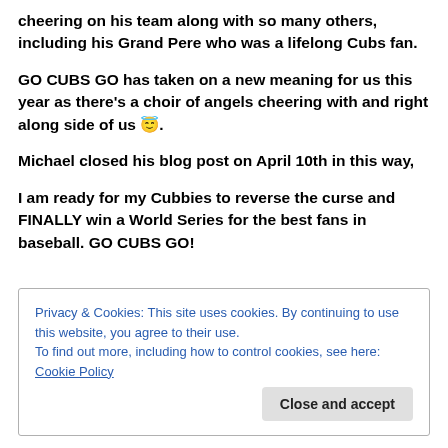cheering on his team along with so many others, including his Grand Pere who was a lifelong Cubs fan.
GO CUBS GO has taken on a new meaning for us this year as there's a choir of angels cheering with and right along side of us 😇.
Michael closed his blog post on April 10th in this way,
I am ready for my Cubbies to reverse the curse and FINALLY win a World Series for the best fans in baseball. GO CUBS GO!
Privacy & Cookies: This site uses cookies. By continuing to use this website, you agree to their use.
To find out more, including how to control cookies, see here: Cookie Policy